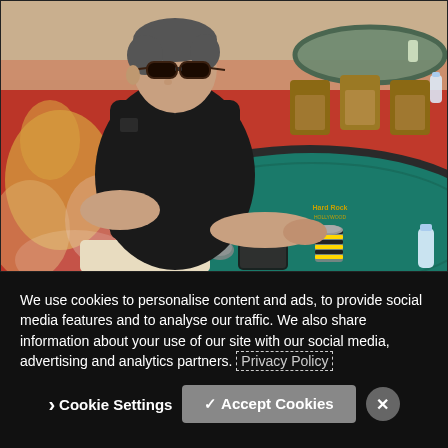[Figure (photo): A man wearing dark sunglasses and a black polo shirt sits at a green felt poker table at the Hard Rock Casino Hollywood. He has poker chips and a smartphone in front of him. The casino carpet is colorful (red, yellow, white patterns). Other empty poker tables and chairs are visible in the background.]
We use cookies to personalise content and ads, to provide social media features and to analyse our traffic. We also share information about your use of our site with our social media, advertising and analytics partners. Privacy Policy
Cookie Settings
✓ Accept Cookies